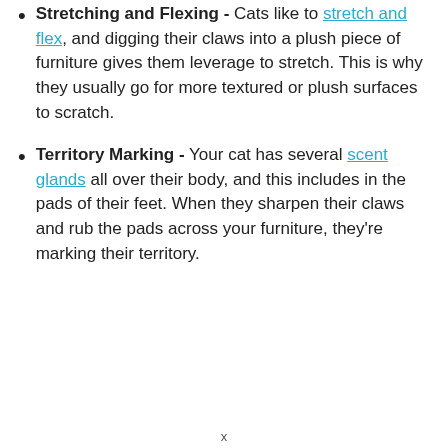Stretching and Flexing - Cats like to stretch and flex, and digging their claws into a plush piece of furniture gives them leverage to stretch. This is why they usually go for more textured or plush surfaces to scratch.
Territory Marking - Your cat has several scent glands all over their body, and this includes in the pads of their feet. When they sharpen their claws and rub the pads across your furniture, they're marking their territory.
x